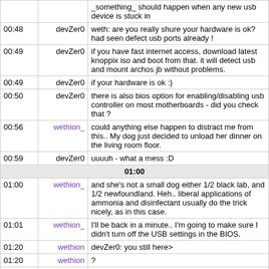| Time | Nick | Message |
| --- | --- | --- |
|  |  | _something_ should happen when any new usb device is stuck in |
| 00:48 | devZer0 | weth: are you really shure your hardware is ok? had seen defect usb ports already ! |
| 00:49 | devZer0 | if you have fast internet access, download latest knoppix iso and boot from that. it will detect usb and mount archos jb without problems. |
| 00:49 | devZer0 | if your hardware is ok :) |
| 00:50 | devZer0 | there is also bios option for enabling/disabling usb controller on most motherboards - did you check that ? |
| 00:56 | wethion_ | could anything else happen to distract me from this.. My dog just decided to unload her dinner on the living room floor. |
| 00:59 | devZer0 | uuuuh - what a mess :D |
| 01:00 |  |  |
| 01:00 | wethion_ | and she's not a small dog either 1/2 black lab, and 1/2 newfoundland. Heh.. liberal applications of ammonia and disinfectant usually do the trick nicely, as in this case. |
| 01:01 | wethion_ | I'll be back in a minute.. I'm going to make sure I didn't turn off the USB settings in the BIOS. |
| 01:20 | wethion | devZer0: you still here> |
| 01:20 | wethion | ? |
| 01:22 | wethion | Ok, now about this firmware.... |
| 01:24 | devZer0 | yes - heavily posting on rockbox mailinglist :D |
| 01:26 | wethion | I got it. WOOHOO. I actually had to have my girlfriend tell me I wasn't a moron. can you guess what was wrong? |
| 01:28 | wethion | I'll tell you.. the BIOS. USB was shut off. I feel like an idiot |